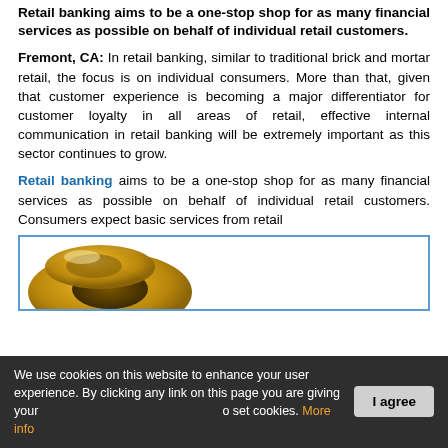Retail banking aims to be a one-stop shop for as many financial services as possible on behalf of individual retail customers.
Fremont, CA: In retail banking, similar to traditional brick and mortar retail, the focus is on individual consumers. More than that, given that customer experience is becoming a major differentiator for customer loyalty in all areas of retail, effective internal communication in retail banking will be extremely important as this sector continues to grow.
Retail banking aims to be a one-stop shop for as many financial services as possible on behalf of individual retail customers. Consumers expect basic services from retail
[Figure (photo): A golden donut/ring shaped object shown partially in a blue-bordered image box]
We use cookies on this website to enhance your user experience. By clicking any link on this page you are giving your consent to set cookies. More info